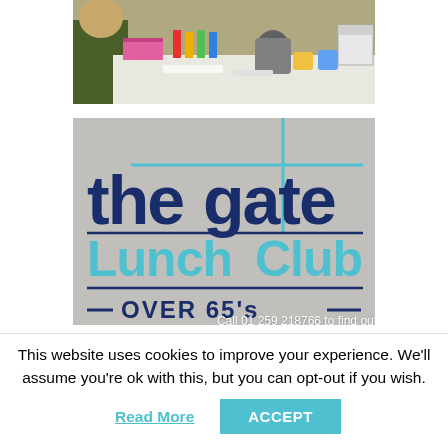[Figure (photo): Photo of a person at a table covered with various items including stationary, mugs, boxes, and craft supplies]
[Figure (photo): The Gate Lunch Club logo on a grey background with a light blue cross symbol. Text reads 'the gate Lunch Club OVER 65's'. Overlaid white text reads 'Call 01259 218766 to find out when our next lunch club will be held']
This website uses cookies to improve your experience. We'll assume you're ok with this, but you can opt-out if you wish.
Read More
ACCEPT